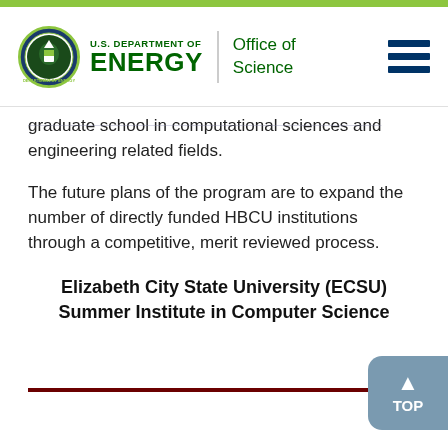U.S. Department of Energy | Office of Science
graduate school in computational sciences and engineering related fields.
The future plans of the program are to expand the number of directly funded HBCU institutions through a competitive, merit reviewed process.
Elizabeth City State University (ECSU) Summer Institute in Computer Science